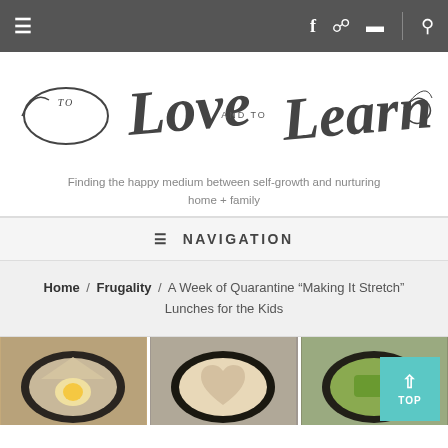≡ | f ∞ ▤ | 🔍
[Figure (logo): Cursive script logo reading 'to Love and to Learn' with decorative swashes]
Finding the happy medium between self-growth and nurturing home + family
≡ NAVIGATION
Home / Frugality / A Week of Quarantine "Making It Stretch" Lunches for the Kids
[Figure (photo): Three food photos showing children's lunches on dark plates — left: quesadilla with egg, center: heart-shaped sandwich, right: green vegetable item]